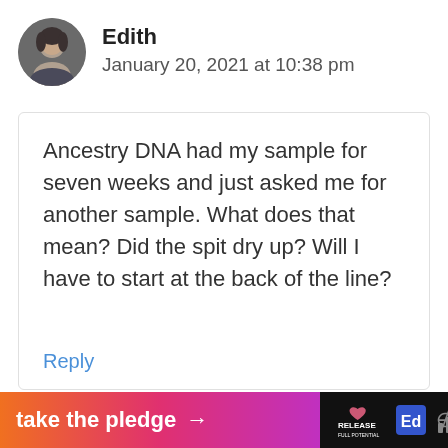[Figure (photo): Circular avatar photo of a person, woman, small profile picture]
Edith
January 20, 2021 at 10:38 pm
Ancestry DNA had my sample for seven weeks and just asked me for another sample. What does that mean? Did the spit dry up? Will I have to start at the back of the line?
Reply
[Figure (infographic): Footer banner: 'take the pledge' with arrow, Release logo, Ed logo, and WiFi/signal icon on black background with gradient orange-pink-purple section]